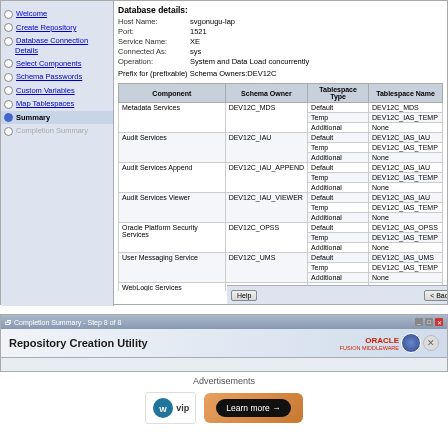[Figure (screenshot): Oracle Repository Creation Utility wizard - Summary step showing database details and tablespace table with components like Metadata Services, Audit Services, WebLogic Services, SOA Infrastructure]
[Figure (screenshot): Oracle Repository Creation Utility - Completion Summary Step 8 of 8 window header with Oracle Fusion Middleware logo]
Advertisements
[Figure (logo): WordPress VIP logo and Learn more advertisement banner]